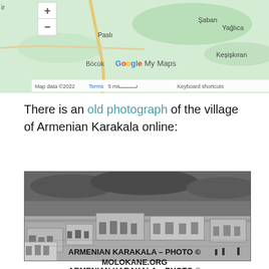[Figure (map): Google My Maps screenshot showing a region with place names including Paslı, Şaban, Böcük, Keşişkıran, Yağlıca. Map data ©2022. Scale: 5 mi. Zoom controls visible.]
There is an old photograph of the village of Armenian Karakala online:
[Figure (photo): Black and white photograph of the village of Armenian Karakala, showing stone buildings spread across a landscape with cloudy sky.]
ARMENIAN KARAKALA – PHOTO © MOLOKANE.ORG